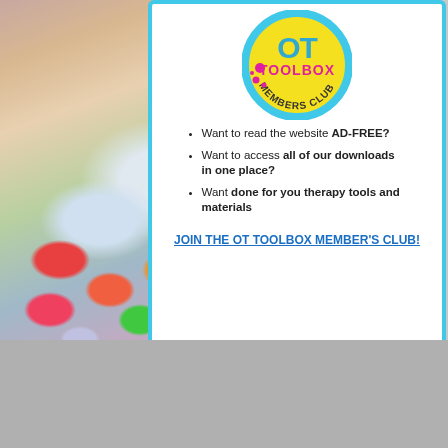[Figure (logo): OT Toolbox Members Club circular logo with yellow background, pink and dark text reading OT TOOLBOX MEMBERS CLUB with pink paint splatter accents]
Want to read the website AD-FREE?
Want to access all of our downloads in one place?
Want done for you therapy tools and materials
JOIN THE OT TOOLBOX MEMBER'S CLUB!